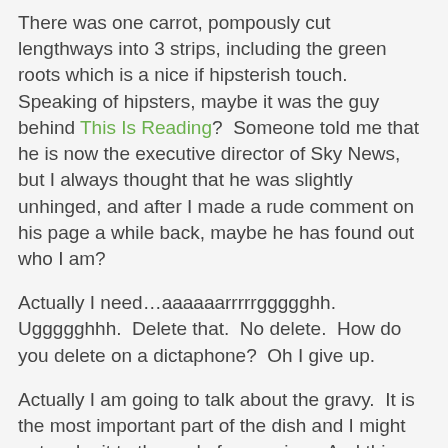There was one carrot, pompously cut lengthways into 3 strips, including the green roots which is a nice if hipsterish touch.  Speaking of hipsters, maybe it was the guy behind This Is Reading?  Someone told me that he is now the executive director of Sky News, but I always thought that he was slightly unhinged, and after I made a rude comment on his page a while back, maybe he has found out who I am?
Actually I need…aaaaaarrrrrggggghh.  Uggggghhh.  Delete that.  No delete.  How do you delete on a dictaphone?  Oh I give up.
Actually I am going to talk about the gravy.  It is the most important part of the dish and I might not make it to the end of my review.  And this gravy ruined the whole meal.  I was promised "proper gravy".  And it was gravy – a very rich gravy.  It tasted of red wine, perhaps some nutmeg but it was just utterly overpowering and I simply didn't like it.  Southerners may like it.  I did not.  I felt it was quite a risky gravy – I am in no doubt that some people would be